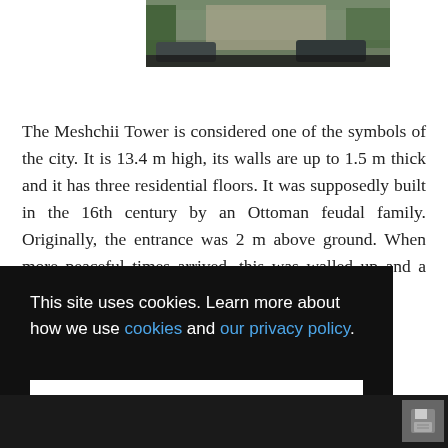[Figure (photo): Partial photo of the Meshchii Tower area showing cars parked near a stone wall and trees]
The Meshchii Tower is considered one of the symbols of the city. It is 13.4 m high, its walls are up to 1.5 m thick and it has three residential floors. It was supposedly built in the 16th century by an Ottoman feudal family. Originally, the entrance was 2 m above ground. When more peaceful times arrived, this was walled up and a new entrance was opened at ground level.
masters brickwork
This site uses cookies. Learn more about how we use cookies and our privacy policy.
Got it!